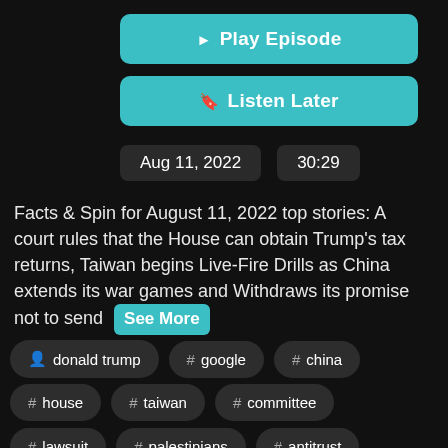▶ Play Episode
🔖 Listen Later
Aug 11, 2022   30:29
Facts & Spin for August 11, 2022 top stories: A court rules that the House can obtain Trump's tax returns, Taiwan begins Live-Fire Drills as China extends its war games and Withdraws its promise not to send See More
donald trump
# google
# china
# house
# taiwan
# committee
# lawsuit
# palestinians
# antitrust